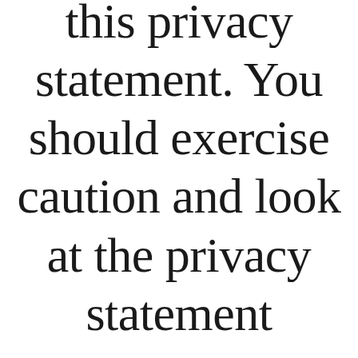this privacy statement. You should exercise caution and look at the privacy statement